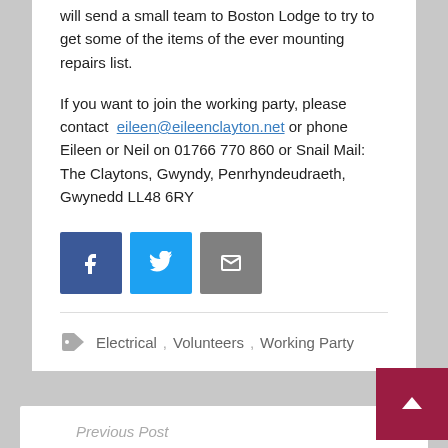will send a small team to Boston Lodge to try to get some of the items of the ever mounting repairs list.
If you want to join the working party, please contact eileen@eileenclayton.net or phone Eileen or Neil on 01766 770 860 or Snail Mail: The Claytons, Gwyndy, Penrhyndeudraeth, Gwynedd LL48 6RY
[Figure (other): Social share buttons: Facebook (blue), Twitter (blue), Email (grey)]
Electrical, Volunteers, Working Party
Previous Post